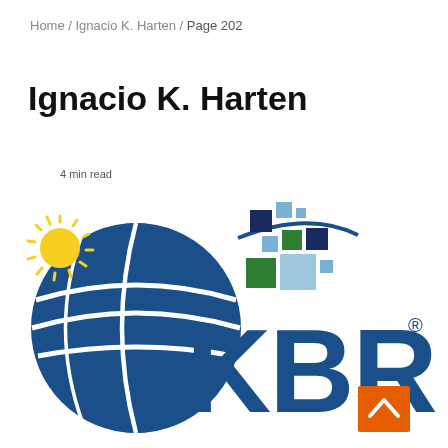Home / Ignacio K. Harten / Page 202
Ignacio K. Harten
4 min read
[Figure (logo): KBR company logo featuring a blue globe with a sun graphic, colorful square pixel design, and large blue KBR letters with registered trademark symbol]